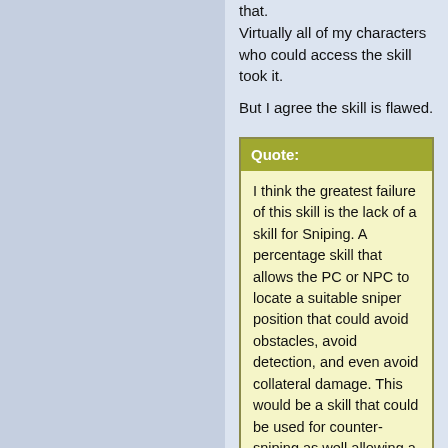that. Virtually all of my characters who could access the skill took it.
But I agree the skill is flawed.
Quote: I think the greatest failure of this skill is the lack of a skill for Sniping. A percentage skill that allows the PC or NPC to locate a suitable sniper position that could avoid obstacles, avoid detection, and even avoid collateral damage. This would be a skill that could be used for counter-sniping as well allowing a person trying to combat an active sniper or secure an area against the threat of a sniper.
Detect Ambush already covers finding a good sniper position, but